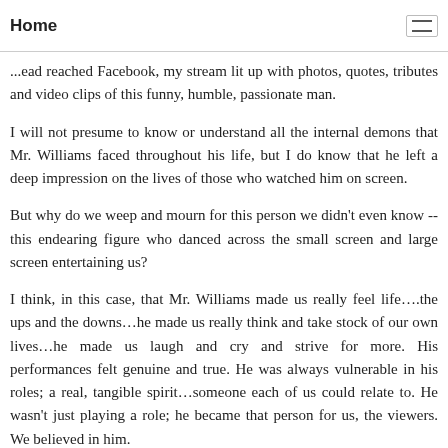Home
...ead reached Facebook, my stream lit up with photos, quotes, tributes and video clips of this funny, humble, passionate man.
I will not presume to know or understand all the internal demons that Mr. Williams faced throughout his life, but I do know that he left a deep impression on the lives of those who watched him on screen.
But why do we weep and mourn for this person we didn't even know -- this endearing figure who danced across the small screen and large screen entertaining us?
I think, in this case, that Mr. Williams made us really feel life….the ups and the downs…he made us really think and take stock of our own lives…he made us laugh and cry and strive for more. His performances felt genuine and true. He was always vulnerable in his roles; a real, tangible spirit…someone each of us could relate to. He wasn't just playing a role; he became that person for us, the viewers. We believed in him.
He wasn't perfect. None of us are. He made mistakes. We all do